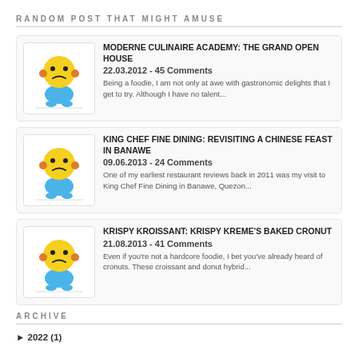RANDOM POST THAT MIGHT AMUSE
[Figure (illustration): Playpic placeholder image - yellow sad face emoji character with blue body]
MODERNE CULINAIRE ACADEMY: THE GRAND OPEN HOUSE
22.03.2012 - 45 Comments
Being a foodie, I am not only at awe with gastronomic delights that I get to try. Although I have no talent...
[Figure (illustration): Playpic placeholder image - yellow sad face emoji character with blue body]
KING CHEF FINE DINING: REVISITING A CHINESE FEAST IN BANAWE
09.06.2013 - 24 Comments
One of my earliest restaurant reviews back in 2011 was my visit to King Chef Fine Dining in Banawe, Quezon...
[Figure (illustration): Playpic placeholder image - yellow sad face emoji character with blue body]
KRISPY KROISSANT: KRISPY KREME'S BAKED CRONUT
21.08.2013 - 41 Comments
Even if you're not a hardcore foodie, I bet you've already heard of cronuts. These croissant and donut hybrid...
ARCHIVE
► 2022 (1)